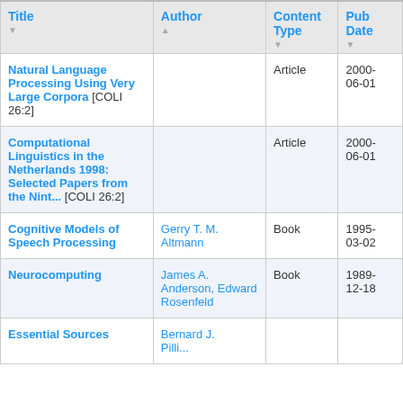| Title | Author | Content Type | Pub Date |
| --- | --- | --- | --- |
| Natural Language Processing Using Very Large Corpora [COLI 26:2] |  | Article | 2000-06-01 |
| Computational Linguistics in the Netherlands 1998: Selected Papers from the Nint... [COLI 26:2] |  | Article | 2000-06-01 |
| Cognitive Models of Speech Processing | Gerry T. M. Altmann | Book | 1995-03-02 |
| Neurocomputing | James A. Anderson, Edward Rosenfeld | Book | 1989-12-18 |
| Essential Sources | Bernard J. ... |  |  |